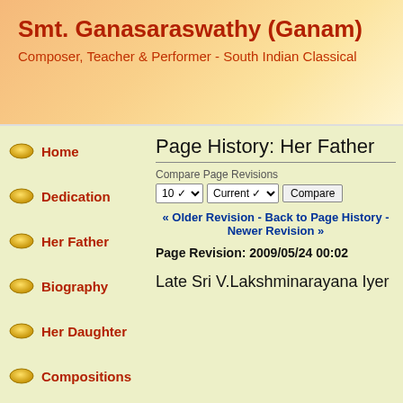Smt. Ganasaraswathy (Ganam)
Composer, Teacher & Performer - South Indian Classical
Home
Dedication
Her Father
Biography
Her Daughter
Compositions
Page History: Her Father
Compare Page Revisions
« Older Revision - Back to Page History - Newer Revision »
Page Revision: 2009/05/24 00:02
Late Sri V.Lakshminarayana Iyer